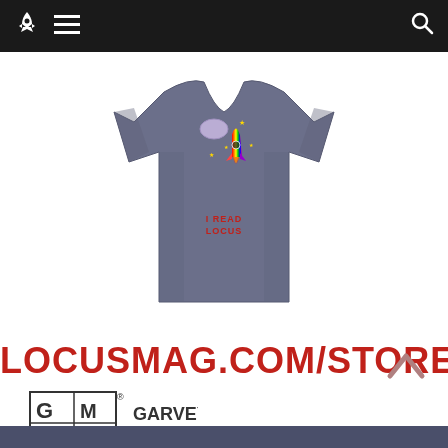[Figure (screenshot): Website navigation bar with rocket icon, hamburger menu, and search icon on dark background]
[Figure (photo): Blue/slate colored t-shirt with colorful rocket ship graphic and 'I READ LOCUS' text printed on it]
LOCUSMAG.COM/STORE
[Figure (logo): Garvey Schubert Barer law firm logo with GSB monogram in a grid box and firm name in large text]
[Figure (other): Dark navy/slate colored bar at the bottom of the page]